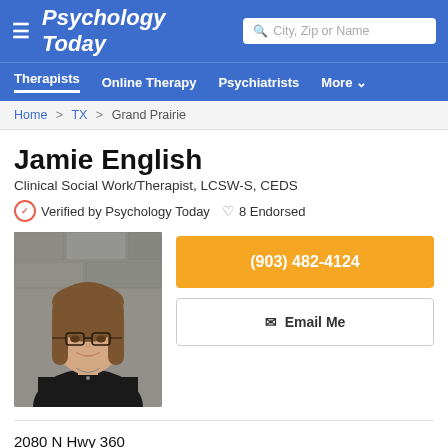Psychology Today
Therapists | Online Therapy | Psychiatrists | More
Home > TX > Grand Prairie
Jamie English
Clinical Social Work/Therapist, LCSW-S, CEDS
✓ Verified by Psychology Today  ♡ 8 Endorsed
[Figure (photo): Professional headshot of Jamie English, a woman with glasses and shoulder-length brown hair, wearing a black jacket, photographed against a stone background.]
(903) 482-4124
Email Me
2080 N Hwy 360
Suite 430